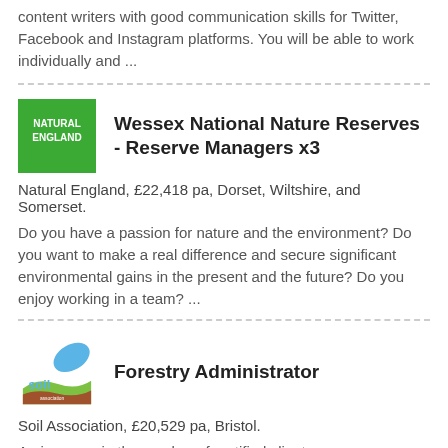content writers with good communication skills for Twitter, Facebook and Instagram platforms. You will be able to work individually and ...
Wessex National Nature Reserves - Reserve Managers x3
Natural England, £22,418 pa, Dorset, Wiltshire, and Somerset.
Do you have a passion for nature and the environment? Do you want to make a real difference and secure significant environmental gains in the present and the future? Do you enjoy working in a team? ...
Forestry Administrator
Soil Association, £20,529 pa, Bristol.
An increase in the number of certified clients means we are looking for a new Forestry Administrator to join our busy, friendly